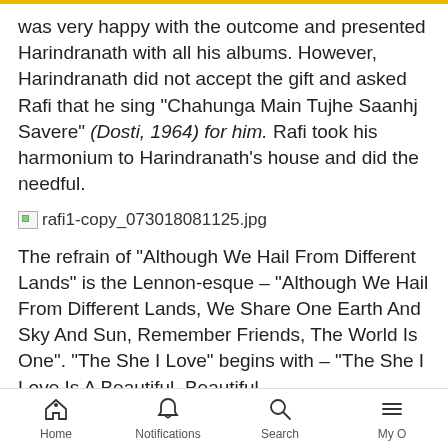was very happy with the outcome and presented Harindranath with all his albums. However, Harindranath did not accept the gift and asked Rafi that he sing "Chahunga Main Tujhe Saanhj Savere" (Dosti, 1964) for him. Rafi took his harmonium to Harindranath's house and did the needful.
[Figure (photo): Broken image placeholder with filename rafi1-copy_073018081125.jpg]
The refrain of "Although We Hail From Different Lands" is the Lennon-esque – "Although We Hail From Different Lands, We Share One Earth And Sky And Sun, Remember Friends, The World Is One". "The She I Love" begins with – "The She I Love Is A Beautiful, Beautiful
Home  Notifications  Search  My O